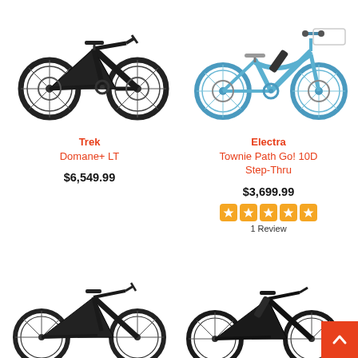[Figure (photo): Black road e-bike (Trek Domane+ LT) on white background, top left]
[Figure (photo): Light blue step-thru cruiser e-bike (Electra Townie Path Go! 10D Step-Thru) on white background, top right]
Trek
Domane+ LT
$6,549.99
Electra
Townie Path Go! 10D Step-Thru
$3,699.99
[Figure (other): 5-star rating graphic with orange star boxes, 1 filled star visible]
1 Review
[Figure (photo): Black road e-bike on white background, bottom left (partially visible)]
[Figure (photo): Dark road e-bike on white background, bottom right (partially visible)]